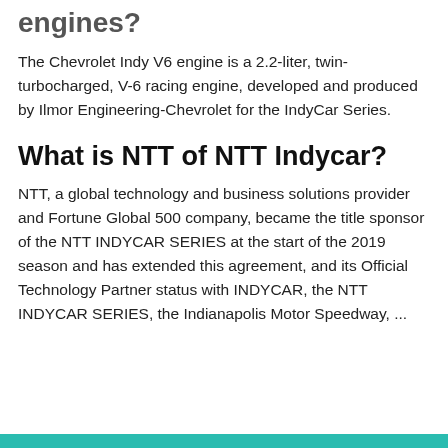engines?
The Chevrolet Indy V6 engine is a 2.2-liter, twin-turbocharged, V-6 racing engine, developed and produced by Ilmor Engineering-Chevrolet for the IndyCar Series.
What is NTT of NTT Indycar?
NTT, a global technology and business solutions provider and Fortune Global 500 company, became the title sponsor of the NTT INDYCAR SERIES at the start of the 2019 season and has extended this agreement, and its Official Technology Partner status with INDYCAR, the NTT INDYCAR SERIES, the Indianapolis Motor Speedway, ...